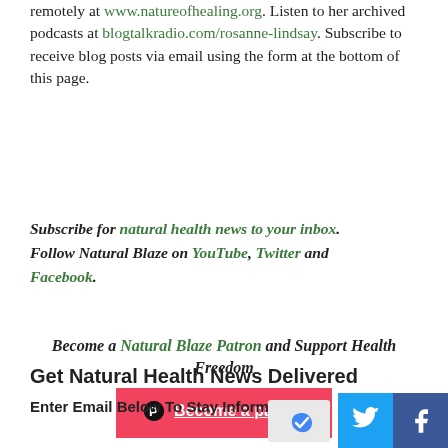remotely at www.natureofhealing.org. Listen to her archived podcasts at blogtalkradio.com/rosanne-lindsay. Subscribe to receive blog posts via email using the form at the bottom of this page.
Subscribe for natural health news to your inbox. Follow Natural Blaze on YouTube, Twitter and Facebook.
Become a Natural Blaze Patron and Support Health Freedom
[Figure (other): Red Patreon button with 'Become a patron' text and Patreon logo]
Get Natural Health News Delivered
Enter Email Below To Stay Informed!
[Figure (other): reCAPTCHA logo image]
[Figure (other): Twitter and Facebook social share buttons]